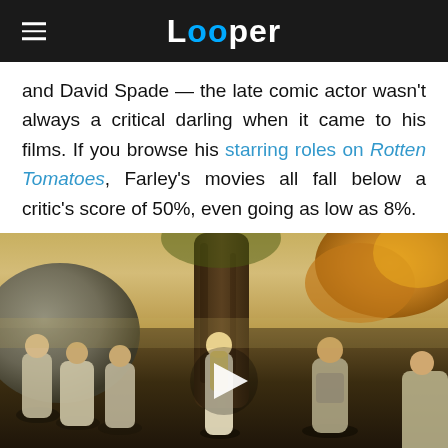Looper
and David Spade — the late comic actor wasn't always a critical darling when it came to his films. If you browse his starring roles on Rotten Tomatoes, Farley's movies all fall below a critic's score of 50%, even going as low as 8%.
[Figure (photo): Video thumbnail showing a fantasy/medieval scene with robed figures gathered around a large tree, with autumn foliage in the background and a play button overlay in the center.]